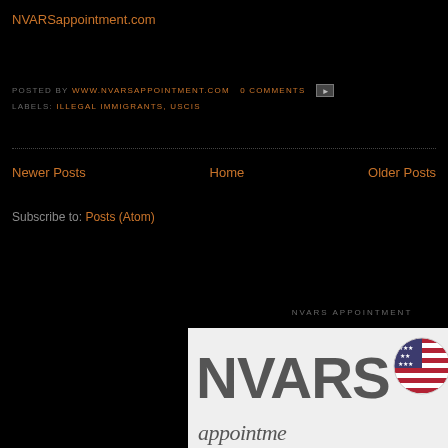NVARSappointment.com
POSTED BY WWW.NVARSAPPOINTMENT.COM   0 COMMENTS
LABELS: ILLEGAL IMMIGRANTS, USCIS
Newer Posts   Home   Older Posts
Subscribe to: Posts (Atom)
NVARS APPOINTMENT
[Figure (logo): NVARS appointment logo with large bold gray text 'NVARS' and an American flag circle, with italic gray text 'appointment' below on a light background]